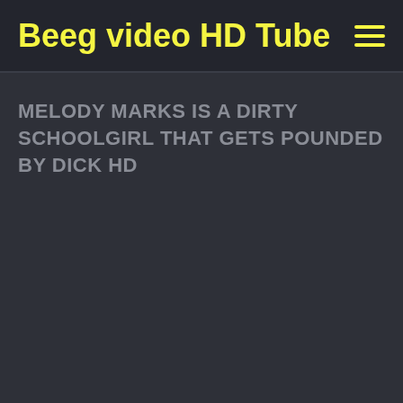Beeg video HD Tube
MELODY MARKS IS A DIRTY SCHOOLGIRL THAT GETS POUNDED BY DICK HD